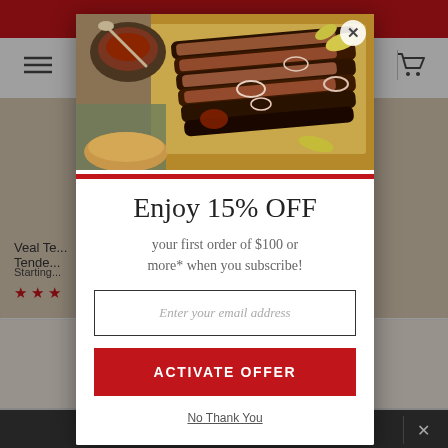[Figure (screenshot): Background of a food e-commerce website with red header, navigation bar with hamburger menu and cart icon, product listing area showing partially visible product images, and a dark bottom bar.]
[Figure (photo): Photo of sliced BBQ brisket on a wooden cutting board with BBQ sauce, pickled onions, and banana peppers. Served with bread.]
Enjoy 15% OFF
your first order of $100 or more* when you subscribe!
Enter your email address
ACTIVATE OFFER
No Thank You